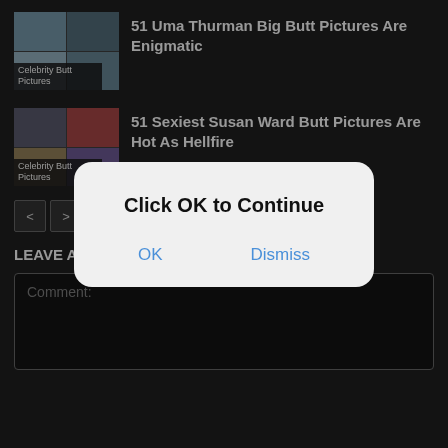[Figure (screenshot): Thumbnail grid for article about Uma Thurman with label 'Celebrity Butt Pictures']
51 Uma Thurman Big Butt Pictures Are Enigmatic
[Figure (screenshot): Thumbnail grid for article about Susan Ward with label 'Celebrity Butt Pictures']
51 Sexiest Susan Ward Butt Pictures Are Hot As Hellfire
< >
LEAVE A REPLY
Comment:
Click OK to Continue
OK
Dismiss